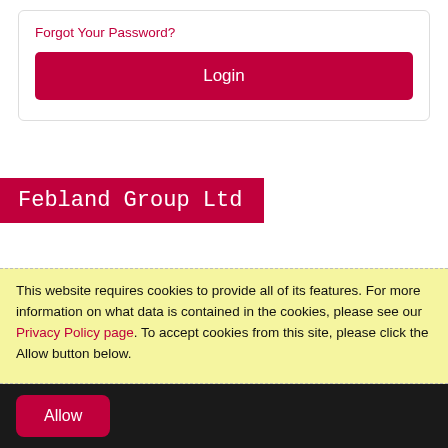Forgot Your Password?
Login
Febland Group Ltd
My Account
This website requires cookies to provide all of its features. For more information on what data is contained in the cookies, please see our Privacy Policy page. To accept cookies from this site, please click the Allow button below.
Allow